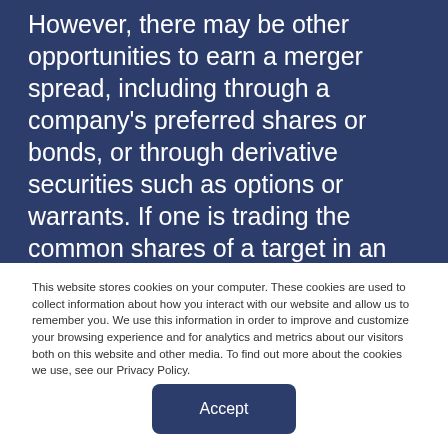However, there may be other opportunities to earn a merger spread, including through a company's preferred shares or bonds, or through derivative securities such as options or warrants. If one is trading the common shares of a target in an all-cash deal, then the trade is fairly simple: the trader
This website stores cookies on your computer. These cookies are used to collect information about how you interact with our website and allow us to remember you. We use this information in order to improve and customize your browsing experience and for analytics and metrics about our visitors both on this website and other media. To find out more about the cookies we use, see our Privacy Policy.
Accept